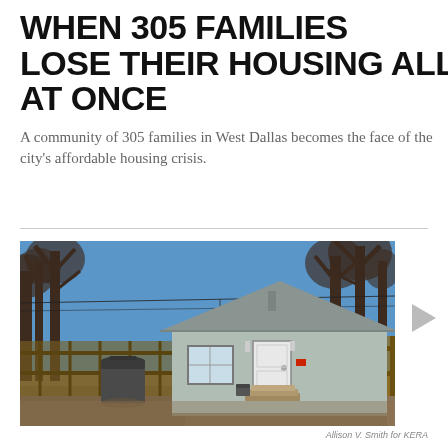WHEN 305 FAMILIES LOSE THEIR HOUSING ALL AT ONCE
A community of 305 families in West Dallas becomes the face of the city's affordable housing crisis.
[Figure (photo): Photograph of a small single-story house with white/light grey siding, a front door with steps, a window, bare trees in the background, blue sky, and a trash can to the left. Photo credit: Allison V. Smith for KERA.]
Allison V. Smith for KERA